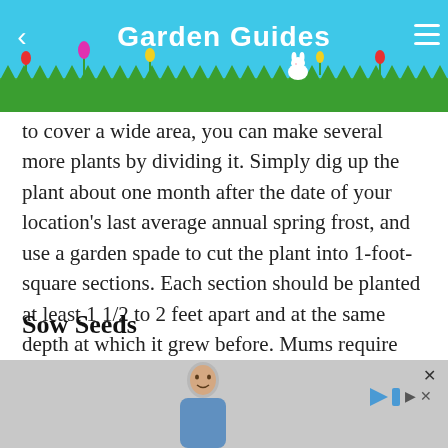Garden Guides
to cover a wide area, you can make several more plants by dividing it. Simply dig up the plant about one month after the date of your location's last average annual spring frost, and use a garden spade to cut the plant into 1-foot-square sections. Each section should be planted at least 1 1/2 to 2 feet apart and at the same depth at which it grew before. Mums require slightly acidic soil and full-sun exposure.
Sow Seeds
You may be able to find tiny, tan seeds at the bases of your chrysanthemum petals if you allow the flower heads to ... lling